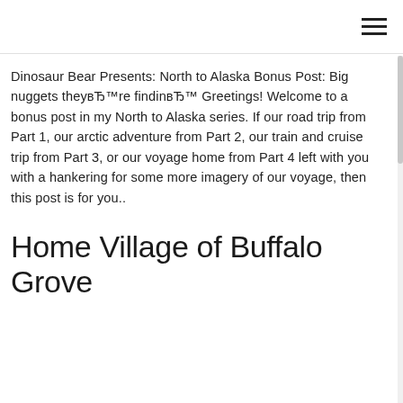Dinosaur Bear Presents: North to Alaska Bonus Post: Big nuggets theyвЂ™re findinвЂ™ Greetings! Welcome to a bonus post in my North to Alaska series. If our road trip from Part 1, our arctic adventure from Part 2, our train and cruise trip from Part 3, or our voyage home from Part 4 left with you with a hankering for some more imagery of our voyage, then this post is for you..
Home Village of Buffalo Grove